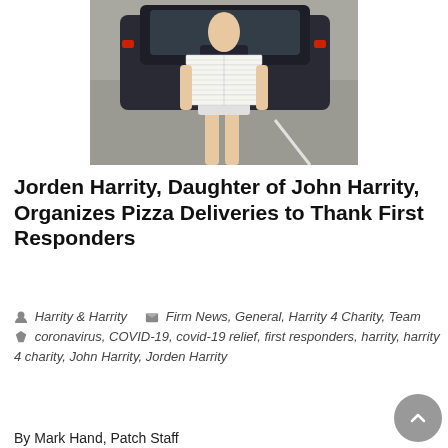[Figure (photo): A young woman standing in a parking lot holding a stack of white pizza boxes, with a dark-colored car behind her.]
Jorden Harrity, Daughter of John Harrity, Organizes Pizza Deliveries to Thank First Responders
Harrity & Harrity  Firm News, General, Harrity 4 Charity, Team  coronavirus, COVID-19, covid-19 relief, first responders, harrity, harrity 4 charity, John Harrity, Jorden Harrity
By Mark Hand, Patch Staff